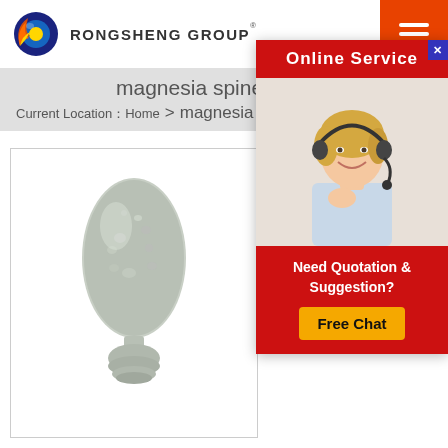[Figure (logo): Rongsheng Group logo - flame and globe icon with brand name]
RONGSHENG GROUP
[Figure (other): Hamburger menu icon on orange/red background]
magnesia spinel for sale
Current Location：Home > magnesia spine
[Figure (other): Online Service popup with woman wearing headset, customer service representative]
Online Service
[Figure (photo): Magnesia spinel product - pale grey elongated vase/bulb shaped granule pile on small round base]
Good Strength Magnesia Alumina Spinel Brick Find
Need Quotation & Suggestion?
Free Chat
Good Strength Magnesia Alumina Spinel Brick Find
Get Price